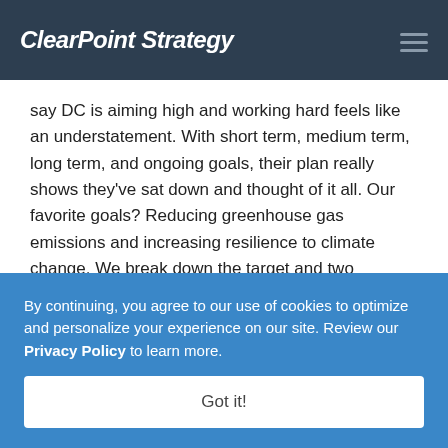ClearPoint Strategy
say DC is aiming high and working hard feels like an understatement. With short term, medium term, long term, and ongoing goals, their plan really shows they've sat down and thought of it all. Our favorite goals? Reducing greenhouse gas emissions and increasing resilience to climate change. We break down the target and two initiatives for each goal below.
By continuing, you agree to our use of cookies to optimize and personalize your experience on our site. Review our Privacy Policy to learn more.
Got it!